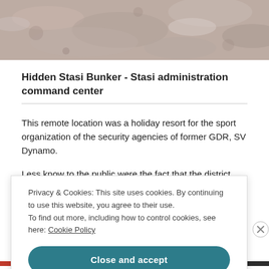[Figure (photo): Top portion of page showing a textured rocky or sandy surface in pinkish-gray tones, likely an exterior photograph of the Hidden Stasi Bunker location.]
Hidden Stasi Bunker - Stasi administration command center
This remote location was a holiday resort for the sport organization of the security agencies of former GDR, SV Dynamo.
Less know to the public were the fact that the district Ministry for State Security (MfS), better known as the 'Stasi',
Privacy & Cookies: This site uses cookies. By continuing to use this website, you agree to their use.
To find out more, including how to control cookies, see here: Cookie Policy
Close and accept